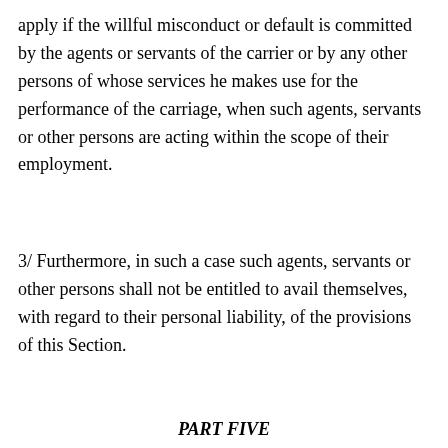apply if the willful misconduct or default is committed by the agents or servants of the carrier or by any other persons of whose services he makes use for the performance of the carriage, when such agents, servants or other persons are acting within the scope of their employment.
3/ Furthermore, in such a case such agents, servants or other persons shall not be entitled to avail themselves, with regard to their personal liability, of the provisions of this Section.
PART FIVE